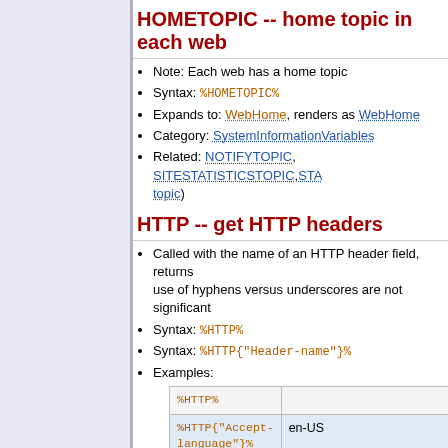HOMETOPIC -- home topic in each web
Note: Each web has a home topic
Syntax: %HOMETOPIC%
Expands to: WebHome, renders as WebHome
Category: SystemInformationVariables
Related: NOTIFYTOPIC, SITESTATISTICSTOPIC, STA...topic)
HTTP -- get HTTP headers
Called with the name of an HTTP header field, returns... use of hyphens versus underscores are not significant...
Syntax: %HTTP%
Syntax: %HTTP{"Header-name"}%
Examples:
|  |  |
| --- | --- |
| %HTTP% |  |
| %HTTP{"Accept-language"}% | en-US |
| %HTTP{"User-Agent"}% | Mozilla/5.0 (iPhone; CPU iPhone... AppleWebKit/604.1.38 (KHTML,... |